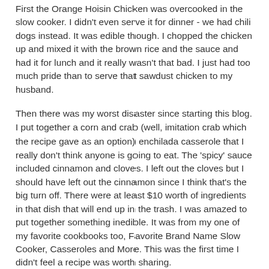First the Orange Hoisin Chicken was overcooked in the slow cooker. I didn't even serve it for dinner - we had chili dogs instead. It was edible though. I chopped the chicken up and mixed it with the brown rice and the sauce and had it for lunch and it really wasn't that bad. I just had too much pride than to serve that sawdust chicken to my husband.
Then there was my worst disaster since starting this blog. I put together a corn and crab (well, imitation crab which the recipe gave as an option) enchilada casserole that I really don't think anyone is going to eat. The 'spicy' sauce included cinnamon and cloves. I left out the cloves but I should have left out the cinnamon since I think that's the big turn off. There were at least $10 worth of ingredients in that dish that will end up in the trash. I was amazed to put together something inedible. It was from my one of my favorite cookbooks too, Favorite Brand Name Slow Cooker, Casseroles and More. This was the first time I didn't feel a recipe was worth sharing.
That casserole has really made me lose my confidence in my recipe choosing abilities. I threw sausage in the crockpot